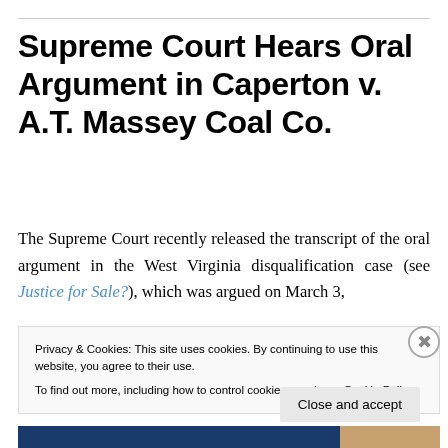Supreme Court Hears Oral Argument in Caperton v. A.T. Massey Coal Co.
The Supreme Court recently released the transcript of the oral argument in the West Virginia disqualification case (see Justice for Sale?), which was argued on March 3,
Privacy & Cookies: This site uses cookies. By continuing to use this website, you agree to their use. To find out more, including how to control cookies, see here: Cookie Policy